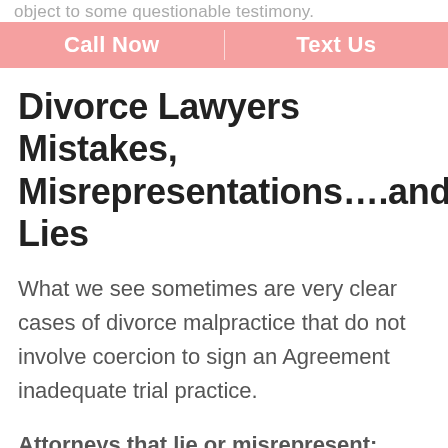object to some questionable testimony.
Call Now | Text Us
Divorce Lawyers Mistakes, Misrepresentations….and Lies
What we see sometimes are very clear cases of divorce malpractice that do not involve coercion to sign an Agreement inadequate trial practice.
Attorneys that lie or misrepresent:  Often clients will provide documents with important information to their attorney and the attorney will fail to review it, fail to provide it to the other side, or fail to